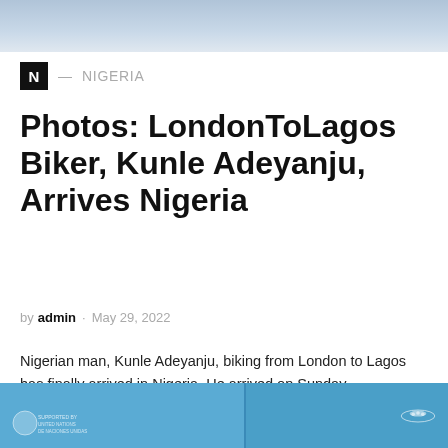[Figure (photo): Partial photo at top of page, cropped, showing a light blue/grey sky or background scene]
N — NIGERIA
Photos: LondonToLagos Biker, Kunle Adeyanju, Arrives Nigeria
by admin · May 29, 2022
Nigerian man, Kunle Adeyanju, biking from London to Lagos has finally arrived in Nigeria. He arrived on Sunday...
[Figure (photo): Partial photo at bottom of page showing a blue background with logos/emblems on the left side and an object on the right side]